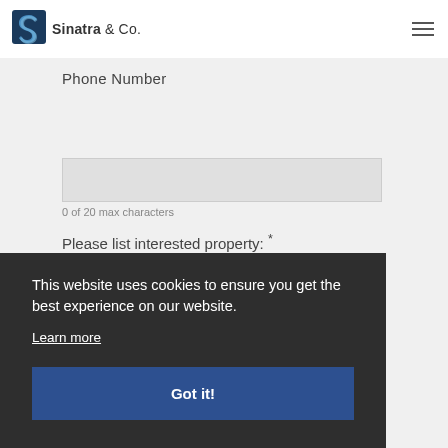[Figure (logo): Sinatra & Co. logo with blue stylized S icon and company name text]
Phone Number
0 of 20 max characters
Please list interested property: *
This website uses cookies to ensure you get the best experience on our website.
Learn more
Got it!